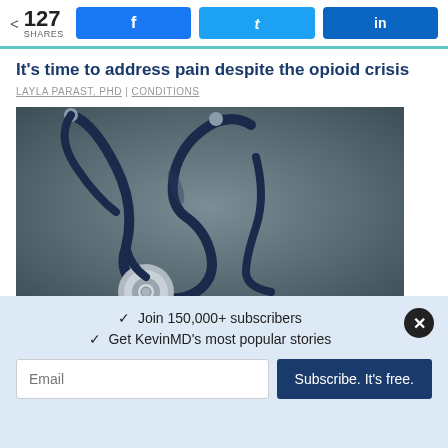127 SHARES | Facebook | Twitter | LinkedIn
It’s time to address pain despite the opioid crisis
LAYLA PARAST, PHD | CONDITIONS
[Figure (photo): Close-up photo of a stethoscope lying on a dark gray surface]
✓ Join 150,000+ subscribers
✓ Get KevinMD’s most popular stories
Email | Subscribe. It’s free.